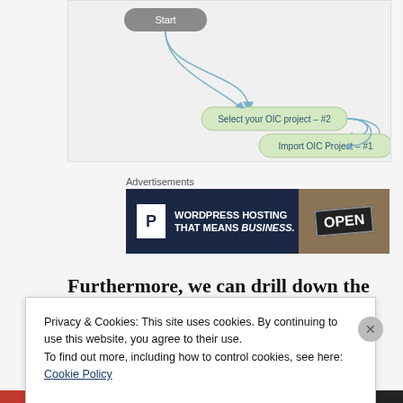[Figure (flowchart): Flowchart showing workflow steps: Start node (gray rounded rectangle) connects via curved arrow to 'Select your OIC project – #2' (green pill shape), which connects via curved arrow to 'Import OIC Project – #1' (green pill shape)]
Advertisements
[Figure (screenshot): Advertisement banner: dark navy background with Pressable 'P' logo and text 'WORDPRESS HOSTING THAT MEANS BUSINESS.' on left side, and photo of OPEN sign on right side]
Furthermore, we can drill down the execution
Privacy & Cookies: This site uses cookies. By continuing to use this website, you agree to their use.
To find out more, including how to control cookies, see here:
Cookie Policy
Close and accept